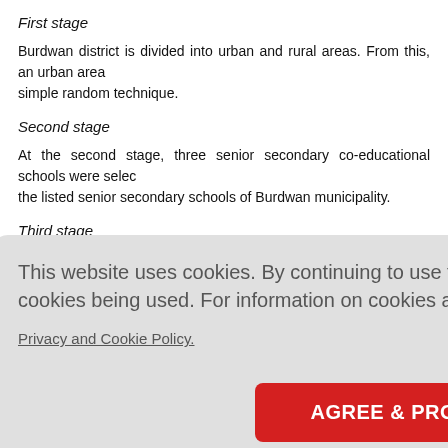First stage
Burdwan district is divided into urban and rural areas. From this, an urban area was selected by simple random technique.
Second stage
At the second stage, three senior secondary co-educational schools were selected randomly from the listed senior secondary schools of Burdwan municipality.
Third stage
This website uses cookies. By continuing to use this website you are giving consent to cookies being used. For information on cookies and how you can disable them visit our Privacy and Cookie Policy. AGREE & PROCEED
was obtained after explaining the purpose and nature of the study to them. The was assured about confidentiality of the information and anonymity of the partic